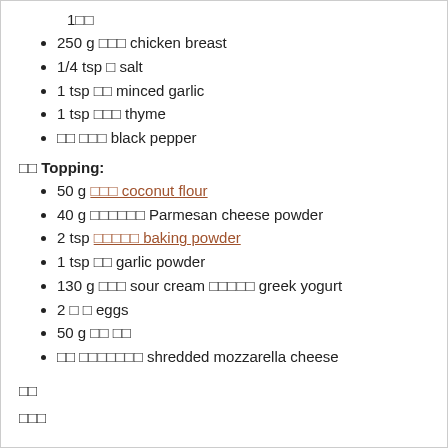1□□
250 g □□□ chicken breast
1/4 tsp □ salt
1 tsp □□ minced garlic
1 tsp □□□ thyme
□□ □□□ black pepper
□□ Topping:
50 g □□□ coconut flour
40 g □□□□□□ Parmesan cheese powder
2 tsp □□□□□ baking powder
1 tsp □□ garlic powder
130 g □□□ sour cream □□□□□ greek yogurt
2 □ □ eggs
50 g □□ □□
□□ □□□□□□□ shredded mozzarella cheese
□□
□□□